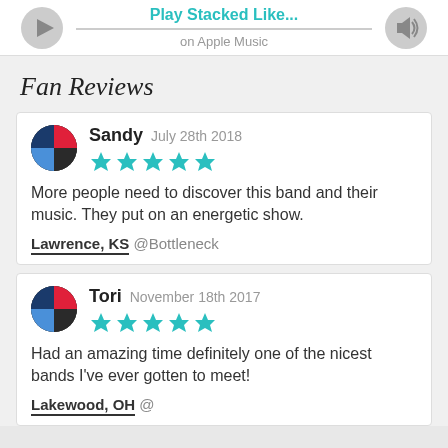[Figure (other): Music player bar with play button icon, 'Play Stacked Like...' title in teal, 'on Apple Music' subtitle in gray, horizontal line, and volume icon]
Fan Reviews
Sandy  July 28th 2018
★★★★★
More people need to discover this band and their music. They put on an energetic show.
Lawrence, KS @Bottleneck
Tori  November 18th 2017
★★★★★
Had an amazing time definitely one of the nicest bands I've ever gotten to meet!
Lakewood, OH @